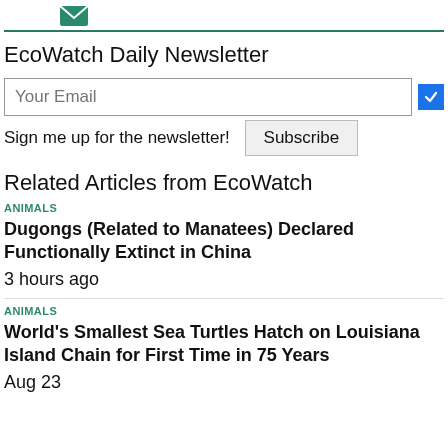[Figure (illustration): Green envelope icon]
EcoWatch Daily Newsletter
Your Email [input field] [blue checkbox]
Sign me up for the newsletter! Subscribe
Related Articles from EcoWatch
ANIMALS
Dugongs (Related to Manatees) Declared Functionally Extinct in China
3 hours ago
ANIMALS
World's Smallest Sea Turtles Hatch on Louisiana Island Chain for First Time in 75 Years
Aug 23